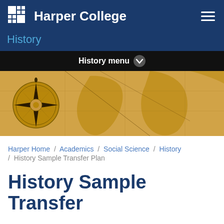Harper College
History
History menu
[Figure (photo): Antique world map in sepia tones showing continents with a compass rose on the left side]
Harper Home / Academics / Social Science / History / History Sample Transfer Plan
History Sample Transfer